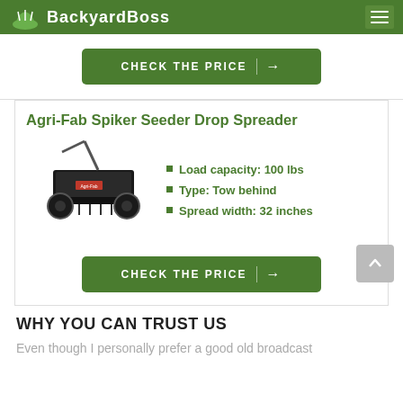BackyardBoss
[Figure (other): Green CHECK THE PRICE button with arrow]
Agri-Fab Spiker Seeder Drop Spreader
[Figure (photo): Agri-Fab Spiker Seeder Drop Spreader product image - black tow-behind spreader with spiked roller]
Load capacity: 100 lbs
Type: Tow behind
Spread width: 32 inches
[Figure (other): Green CHECK THE PRICE button with arrow]
WHY YOU CAN TRUST US
Even though I personally prefer a good old broadcast